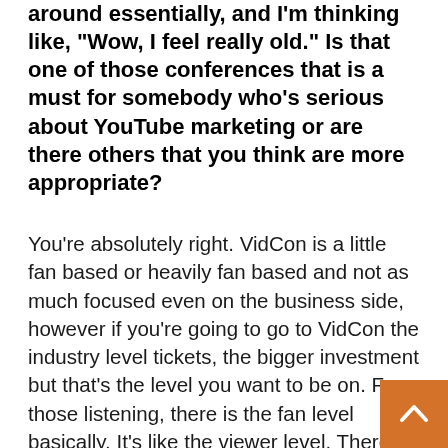around essentially, and I'm thinking like, "Wow, I feel really old." Is that one of those conferences that is a must for somebody who's serious about YouTube marketing or are there others that you think are more appropriate?
You're absolutely right. VidCon is a little fan based or heavily fan based and not as much focused even on the business side, however if you're going to go to VidCon the industry level tickets, the bigger investment but that's the level you want to be on. For those listening, there is the fan level basically. It's like the viewer level. There's creator level for peopl it literally is three different levels of the